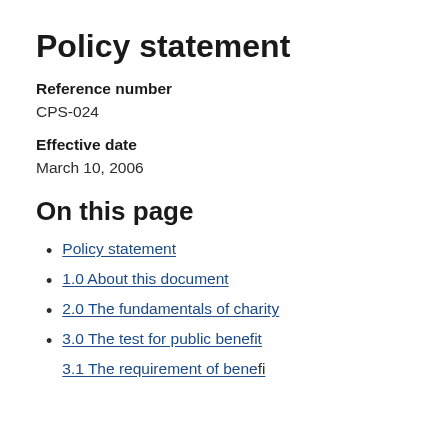Policy statement
Reference number
CPS-024
Effective date
March 10, 2006
On this page
Policy statement
1.0 About this document
2.0 The fundamentals of charity
3.0 The test for public benefit
3.1 The requirement of benefit...